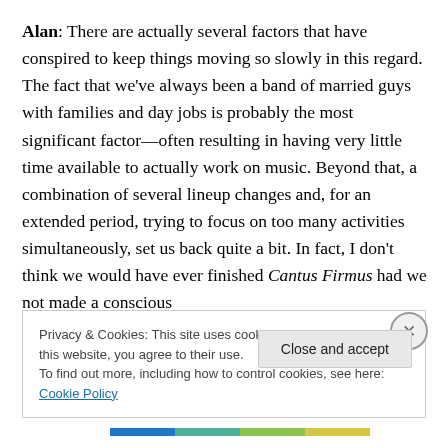Alan: There are actually several factors that have conspired to keep things moving so slowly in this regard. The fact that we've always been a band of married guys with families and day jobs is probably the most significant factor—often resulting in having very little time available to actually work on music. Beyond that, a combination of several lineup changes and, for an extended period, trying to focus on too many activities simultaneously, set us back quite a bit. In fact, I don't think we would have ever finished Cantus Firmus had we not made a conscious
Privacy & Cookies: This site uses cookies. By continuing to use this website, you agree to their use.
To find out more, including how to control cookies, see here: Cookie Policy
Close and accept